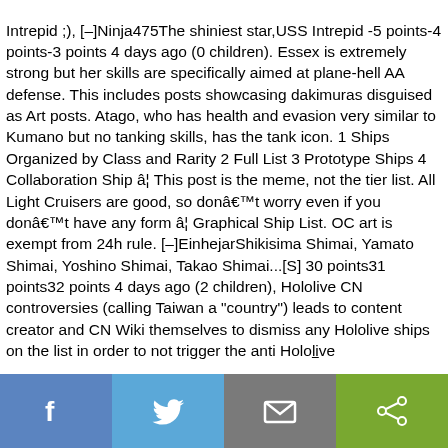Intrepid ;), [–]Ninja475The shiniest star,USS Intrepid -5 points-4 points-3 points 4 days ago (0 children). Essex is extremely strong but her skills are specifically aimed at plane-hell AA defense. This includes posts showcasing dakimuras disguised as Art posts. Atago, who has health and evasion very similar to Kumano but no tanking skills, has the tank icon. 1 Ships Organized by Class and Rarity 2 Full List 3 Prototype Ships 4 Collaboration Ship â¦ This post is the meme, not the tier list. All Light Cruisers are good, so donâ€™t worry even if you donâ€™t have any form â¦ Graphical Ship List. OC art is exempt from 24h rule. [–]EinhejarShikisima Shimai, Yamato Shimai, Yoshino Shimai, Takao Shimai...[S] 30 points31 points32 points 4 days ago (2 children), Hololive CN controversies (calling Taiwan a "country") leads to content creator and CN Wiki themselves to dismiss any Hololive ships on the list in order to not trigger the anti Hololive
[Figure (other): Social sharing bar with four buttons: Facebook (blue), Twitter (light blue), Email (gray), Share (green)]